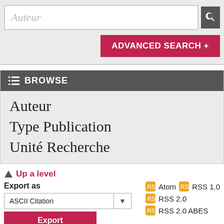Auteur
ADVANCED SEARCH +
BROWSE
Auteur
Type Publication
Unité Recherche
Up a level
Export as
ASCII Citation
Export
Atom
RSS 1.0
RSS 2.0
RSS 2.0 ABES